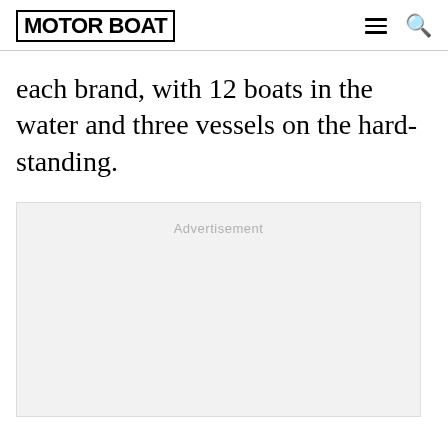MOTORBOAT
each brand, with 12 boats in the water and three vessels on the hard-standing.
[Figure (other): Advertisement placeholder box with light grey background and 'Advertisement' label text]